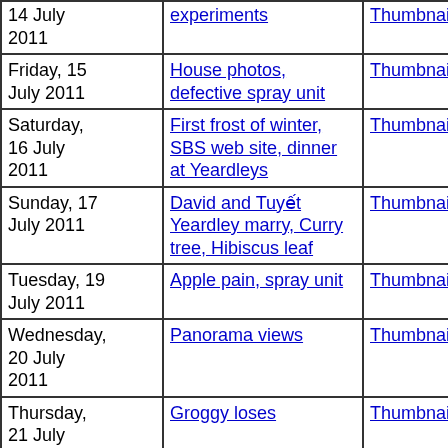| Date | Description | Thumbnails | Small photos | Diary |
| --- | --- | --- | --- | --- |
| 14 July 2011 | experiments | Thumbnails | Small photos | diary |
| Friday, 15 July 2011 | House photos, defective spray unit | Thumbnails | Small photos | diary |
| Saturday, 16 July 2011 | First frost of winter, SBS web site, dinner at Yeardleys | Thumbnails | Small photos | diary |
| Sunday, 17 July 2011 | David and Tuyết Yeardley marry, Curry tree, Hibiscus leaf | Thumbnails | Small photos | diary |
| Tuesday, 19 July 2011 | Apple pain, spray unit | Thumbnails | Small photos | diary |
| Wednesday, 20 July 2011 | Panorama views | Thumbnails | Small photos | diary |
| Thursday, 21 July 2011 | Groggy loses | Thumbnails | Small photos | diary |
| Friday, 22 July 2011 | ALDI pepper grinder, reception interference, Indian serving dishes | Thumbnails | Small photos | diary |